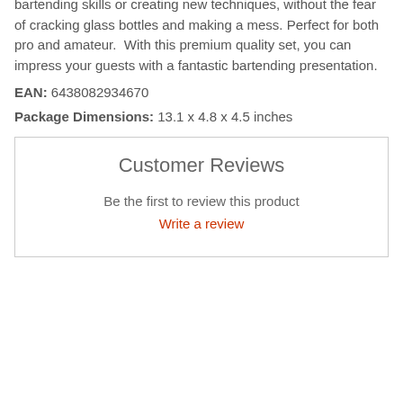Practice & performance set, you can practice your bartending skills or creating new techniques, without the fear of cracking glass bottles and making a mess. Perfect for both pro and amateur.  With this premium quality set, you can impress your guests with a fantastic bartending presentation.
EAN: 6438082934670
Package Dimensions: 13.1 x 4.8 x 4.5 inches
Customer Reviews
Be the first to review this product
Write a review